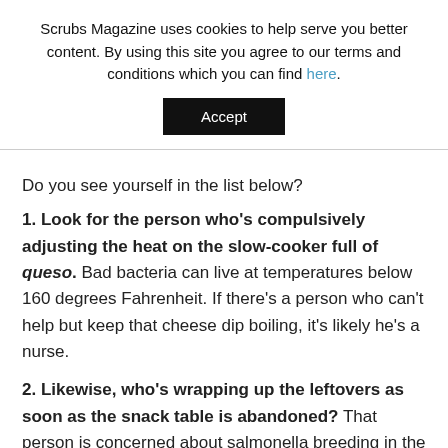Scrubs Magazine uses cookies to help serve you better content. By using this site you agree to our terms and conditions which you can find here.
Accept
Do you see yourself in the list below?
1. Look for the person who’s compulsively adjusting the heat on the slow-cooker full of queso. Bad bacteria can live at temperatures below 160 degrees Fahrenheit. If there’s a person who can’t help but keep that cheese dip boiling, it’s likely he’s a nurse.
2. Likewise, who’s wrapping up the leftovers as soon as the snack table is abandoned? That person is concerned about salmonella breeding in the crab salsa.